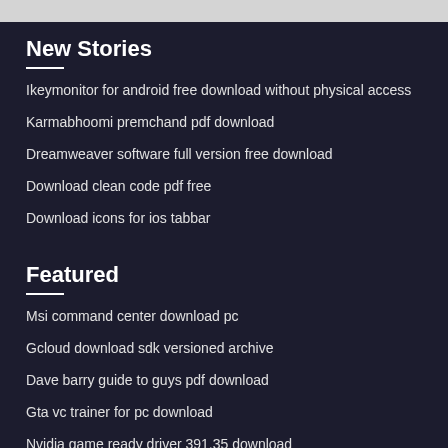New Stories
Ikeymonitor for android free download without physical access
Karmabhoomi premchand pdf download
Dreamweaver software full version free download
Download clean code pdf free
Download icons for ios tabbar
Featured
Msi command center download pc
Gcloud download sdk versioned archive
Dave barry guide to guys pdf download
Gta vc trainer for pc download
Nvidia game ready driver 391.35 download